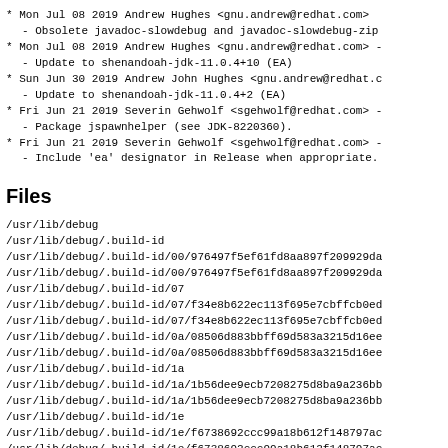* Mon Jul 08 2019 Andrew Hughes <gnu.andrew@redhat.com>
  - Obsolete javadoc-slowdebug and javadoc-slowdebug-zip
* Mon Jul 08 2019 Andrew Hughes <gnu.andrew@redhat.com> -
  - Update to shenandoah-jdk-11.0.4+10 (EA)
* Sun Jun 30 2019 Andrew John Hughes <gnu.andrew@redhat.c
  - Update to shenandoah-jdk-11.0.4+2 (EA)
* Fri Jun 21 2019 Severin Gehwolf <sgehwolf@redhat.com> -
  - Package jspawnhelper (see JDK-8220360).
* Fri Jun 21 2019 Severin Gehwolf <sgehwolf@redhat.com> -
  - Include 'ea' designator in Release when appropriate.
Files
/usr/lib/debug
/usr/lib/debug/.build-id
/usr/lib/debug/.build-id/00/976497f5ef61fd8aa897f209929da
/usr/lib/debug/.build-id/00/976497f5ef61fd8aa897f209929da
/usr/lib/debug/.build-id/07
/usr/lib/debug/.build-id/07/f34e8b622ec113f695e7cbffcb0ed
/usr/lib/debug/.build-id/07/f34e8b622ec113f695e7cbffcb0ed
/usr/lib/debug/.build-id/0a/08506d883bbff69d583a3215d16ee
/usr/lib/debug/.build-id/0a/08506d883bbff69d583a3215d16ee
/usr/lib/debug/.build-id/1a
/usr/lib/debug/.build-id/1a/1b56dee9ecb7208275d8ba9a236bb
/usr/lib/debug/.build-id/1a/1b56dee9ecb7208275d8ba9a236bb
/usr/lib/debug/.build-id/1e
/usr/lib/debug/.build-id/1e/f6738692ccc99a18b612f148797ac
/usr/lib/debug/.build-id/1e/f6738692ccc99a18b612f148797ac